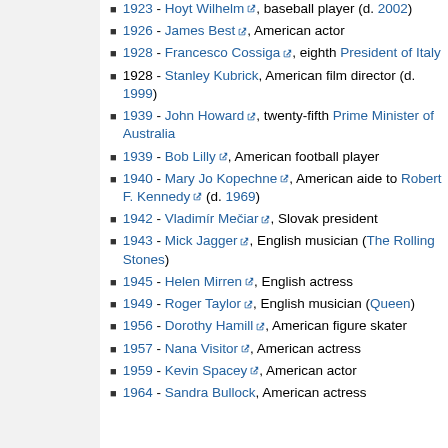1923 - Hoyt Wilhelm, baseball player (d. 2002)
1926 - James Best, American actor
1928 - Francesco Cossiga, eighth President of Italy
1928 - Stanley Kubrick, American film director (d. 1999)
1939 - John Howard, twenty-fifth Prime Minister of Australia
1939 - Bob Lilly, American football player
1940 - Mary Jo Kopechne, American aide to Robert F. Kennedy (d. 1969)
1942 - Vladimír Mečiar, Slovak president
1943 - Mick Jagger, English musician (The Rolling Stones)
1945 - Helen Mirren, English actress
1949 - Roger Taylor, English musician (Queen)
1956 - Dorothy Hamill, American figure skater
1957 - Nana Visitor, American actress
1959 - Kevin Spacey, American actor
1964 - Sandra Bullock, American actress